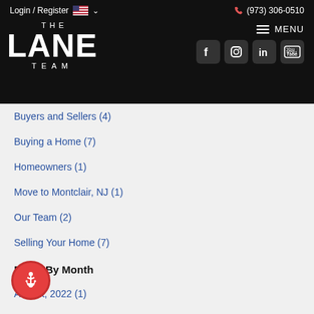Login / Register  (973) 306-0510
[Figure (logo): The Lane Team real estate logo in white on black background with social media icons (Facebook, Instagram, LinkedIn, YouTube) and hamburger menu]
Buyers and Sellers  (4)
Buying a Home  (7)
Homeowners  (1)
Move to Montclair, NJ  (1)
Our Team  (2)
Selling Your Home  (7)
Posts By Month
August, 2022  (1)
July, 2022  (2)
June, 2022  (2)